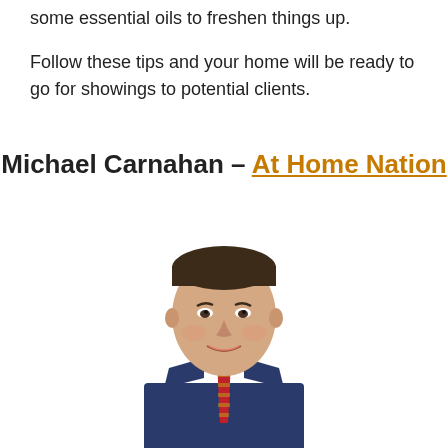some essential oils to freshen things up.
Follow these tips and your home will be ready to go for showings to potential clients.
Michael Carnahan – At Home Nation
[Figure (photo): Professional headshot of Michael Carnahan, a man in a navy blue suit with a red patterned tie and light blue dress shirt, smiling, with short dark hair, against a white background.]